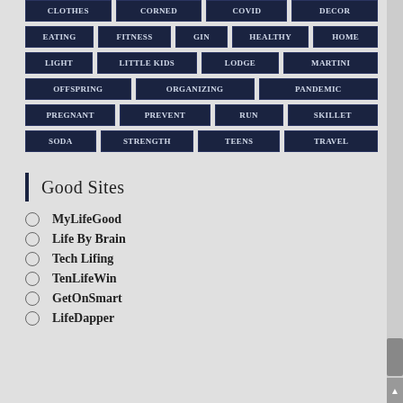CLOTHES
CORNED
COVID
DECOR
EATING
FITNESS
GIN
HEALTHY
HOME
LIGHT
LITTLE KIDS
LODGE
MARTINI
OFFSPRING
ORGANIZING
PANDEMIC
PREGNANT
PREVENT
RUN
SKILLET
SODA
STRENGTH
TEENS
TRAVEL
Good Sites
MyLifeGood
Life By Brain
Tech Lifing
TenLifeWin
GetOnSmart
LifeDapper